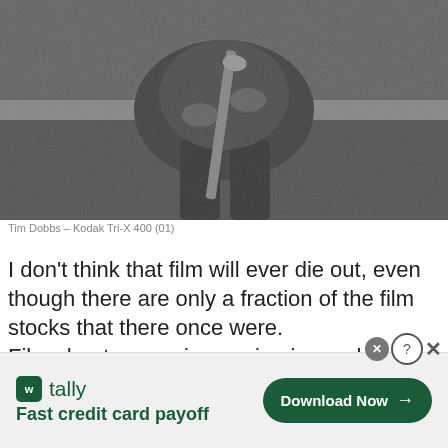[Figure (photo): Black and white photograph of a person crouching and holding a shovel, wearing work clothes and gloves]
Tim Dobbs – Kodak Tri-X 400 (01)
I don't think that film will ever die out, even though there are only a fraction of the film stocks that there once were.
Film shooters are increasing in numbers and
[Figure (screenshot): Advertisement banner for Tally app — Fast credit card payoff, with Download Now button]